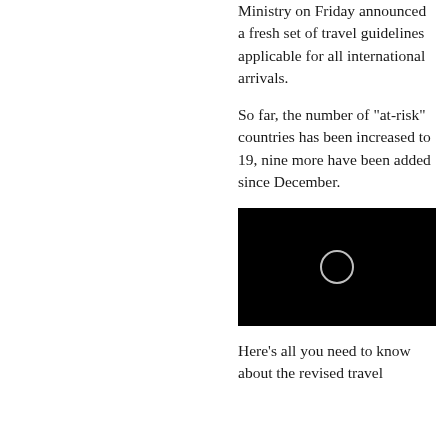Ministry on Friday announced a fresh set of travel guidelines applicable for all international arrivals.
So far, the number of "at-risk" countries has been increased to 19, nine more have been added since December.
[Figure (other): Black video thumbnail with a small circular play button icon in the center]
Here's all you need to know about the revised travel